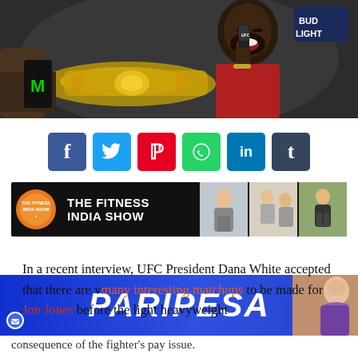[Figure (photo): UFC press conference photo showing a Black male fighter laughing, holding a UFC microphone, with a championship belt visible. Another person's arms visible on left. Bud Light logo in upper right background.]
[Figure (infographic): Row of social media share buttons: Facebook (blue), Twitter (cyan), Pinterest (red), WhatsApp (green), LinkedIn (blue), Tumblr (dark blue-grey)]
[Figure (infographic): The Fitness India Show banner ad with orange circle logo, bold white text on black background, and three fitness photo thumbnails on right]
In a recent interview, UFC President Dana White accepted that there are vmany interesting matchups to be made for Jon Jones before the light heavyweight
[Figure (infographic): PARIPESA gambling advertisement banner, blue gradient background with white italic bold text, woman figure on right]
consequence of the fighter's pay issue.